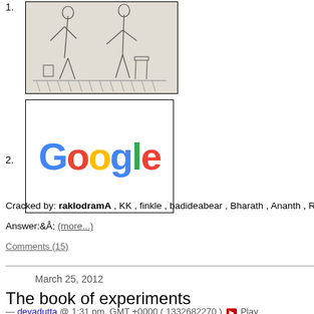1. [sketch illustration image]
2. [Google logo image]
Cracked by: raklodramA , KK , finkle , badideabear , Bharath , Ananth , Rogi ar
Answer:Â (more...)
Comments (15)
March 25, 2012
The book of experiments
— devadutta @ 1:31 pm, GMT +0000 ( 1332682270 ) ▶ Play
Identify this MMORPG and tell us what is special about it